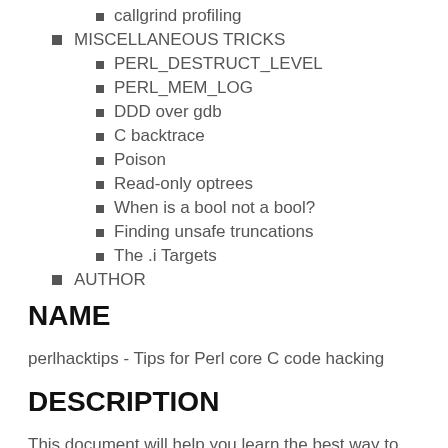callgrind profiling
MISCELLANEOUS TRICKS
PERL_DESTRUCT_LEVEL
PERL_MEM_LOG
DDD over gdb
C backtrace
Poison
Read-only optrees
When is a bool not a bool?
Finding unsafe truncations
The .i Targets
AUTHOR
NAME
perlhacktips - Tips for Perl core C code hacking
DESCRIPTION
This document will help you learn the best way to go about hacking on the Perl core C code. It covers